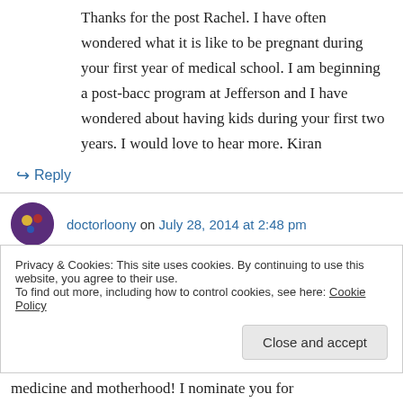Thanks for the post Rachel. I have often wondered what it is like to be pregnant during your first year of medical school. I am beginning a post-bacc program at Jefferson and I have wondered about having kids during your first two years. I would love to hear more. Kiran
↳ Reply
doctorloony on July 28, 2014 at 2:48 pm
Privacy & Cookies: This site uses cookies. By continuing to use this website, you agree to their use.
To find out more, including how to control cookies, see here: Cookie Policy
Close and accept
medicine and motherhood! I nominate you for